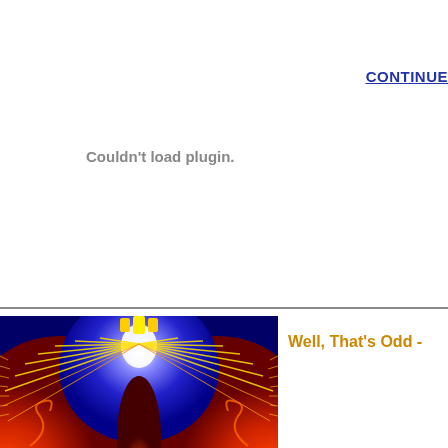CONTINUE
Couldn't load plugin.
[Figure (illustration): Colorful fractal or physics simulation image showing red, blue, white, and yellow patterns resembling a Mandelbrot or electromagnetic field visualization]
Well, That's Odd -